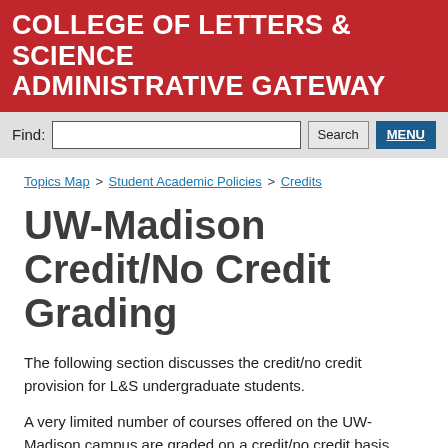COLLEGE OF LETTERS & SCIENCE ADMINISTRATIVE GATEWAY
Find: [search input] Search MENU
Topics Map > Student Academic Policies > Credits
UW-Madison Credit/No Credit Grading
The following section discusses the credit/no credit provision for L&S undergraduate students.
A very limited number of courses offered on the UW-Madison campus are graded on a credit/no credit basis rather than on a letter grade basis. Students will receive a grade of credit (CR) or